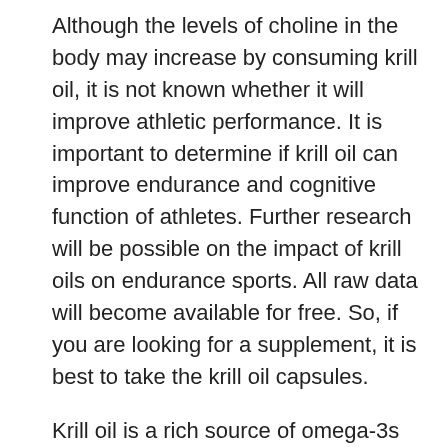Although the levels of choline in the body may increase by consuming krill oil, it is not known whether it will improve athletic performance. It is important to determine if krill oil can improve endurance and cognitive function of athletes. Further research will be possible on the impact of krill oils on endurance sports. All raw data will become available for free. So, if you are looking for a supplement, it is best to take the krill oil capsules.
Krill oil is a rich source of omega-3s and also has choline. Choline in the form of PC is naturally found in krill oil and regulates many vital functions in the body. They regulate the brain, heart, joint, skin and other vital functions such as cognitive function, memory, bone health, and